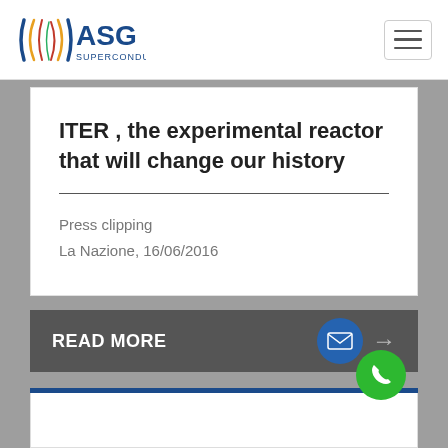[Figure (logo): ASG Superconductors logo with stylized X/arc motif and company name]
ITER , the experimental reactor that will change our history
Press clipping
La Nazione, 16/06/2016
READ MORE